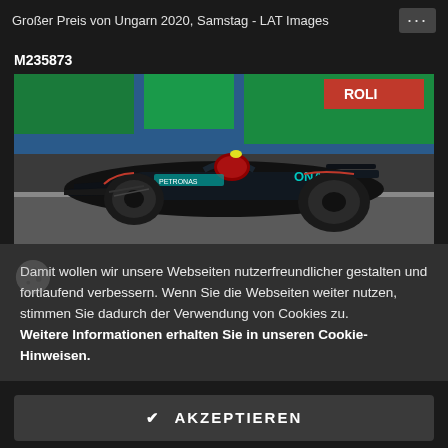Großer Preis von Ungarn 2020, Samstag - LAT Images
M235873
[Figure (photo): Mercedes AMG Petronas Formula 1 car racing on track at the 2020 Hungarian Grand Prix on Saturday, photographed by LAT Images. The silver and black F1 car is shown in motion with green and blue advertising boards in the background.]
Damit wollen wir unsere Webseiten nutzerfreundlicher gestalten und fortlaufend verbessern. Wenn Sie die Webseiten weiter nutzen, stimmen Sie dadurch der Verwendung von Cookies zu. Weitere Informationen erhalten Sie in unseren Cookie-Hinweisen.
✔ AKZEPTIEREN